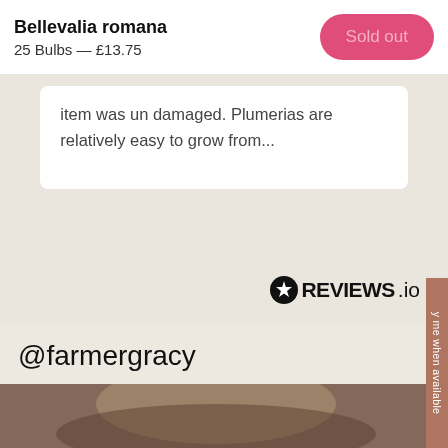Bellevalia romana
25 Bulbs — £13.75
Sold out
item was un damaged. Plumerias are relatively easy to grow from...
[Figure (logo): REVIEWS.io logo with star icon]
@farmergracy
Tag @farmergracy to share your garden, plants and experience!
[Figure (photo): Photo strip showing a person outdoors]
y me when available